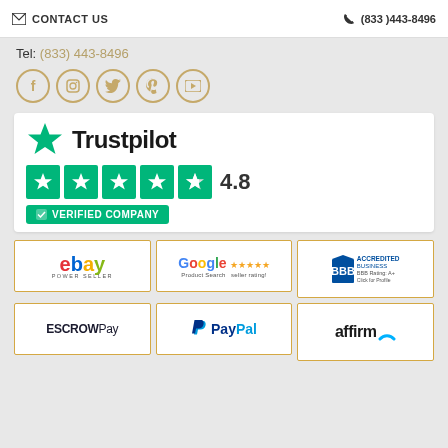✉ CONTACT US   ☎ (833)443-8496
Tel: (833) 443-8496
[Figure (illustration): Five social media icons in gold circles: Facebook, Instagram, Twitter, Pinterest, YouTube]
[Figure (logo): Trustpilot logo with green star, 4.8 rating shown with 5 green star boxes, and Verified Company badge]
[Figure (logo): eBay Power Seller badge]
[Figure (logo): Google Product Search seller rating with 5 stars]
[Figure (logo): BBB Accredited Business BBB Rating A+ Click for Profile]
[Figure (logo): ESCROWPay logo]
[Figure (logo): PayPal logo]
[Figure (logo): Affirm logo with arc]